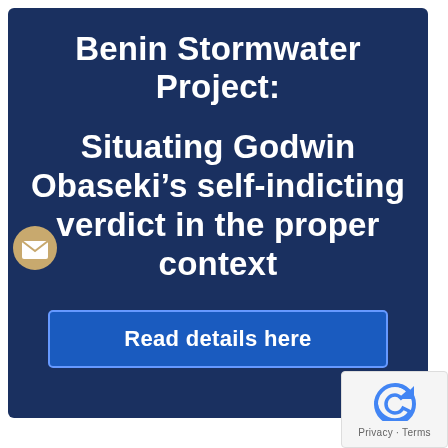Benin Stormwater Project:
Situating Godwin Obaseki’s self-indicting verdict in the proper context
Read details here